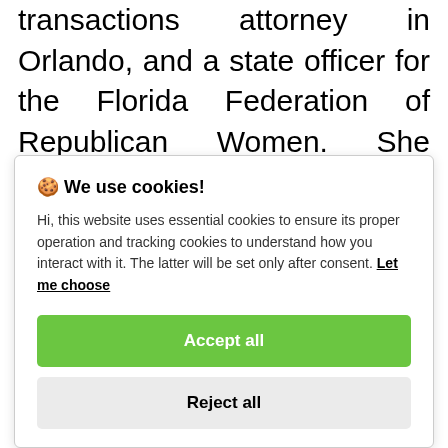transactions attorney in Orlando, and a state officer for the Florida Federation of Republican Women. She serves on multiple non-profit boards, including Matthew's Hope, Downtown Arts District, House of Hope, and the Civil
🍪 We use cookies!

Hi, this website uses essential cookies to ensure its proper operation and tracking cookies to understand how you interact with it. The latter will be set only after consent. Let me choose

[Accept all] [Reject all]
Instagram